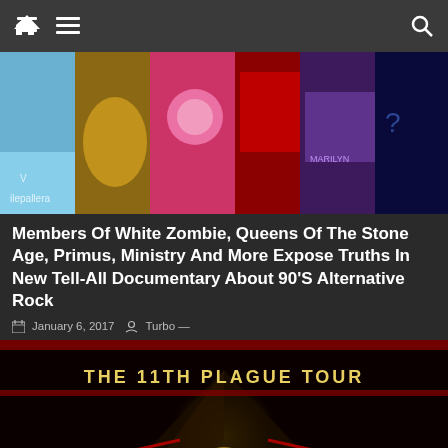Navigation bar with home, menu, and search icons
[Figure (photo): Collage of colorful album covers including various rock and alternative albums]
Members Of White Zombie, Queens Of The Stone Age, Primus, Ministry And More Expose Truths In New Tell-All Documentary About 90'S Alternative Rock
January 6, 2017  Turbo —
[Figure (photo): Concert or tour promotional image reading 'THE 11TH PLAGUE TOUR' with a pyramid and pharaoh mask design, red laser beams]